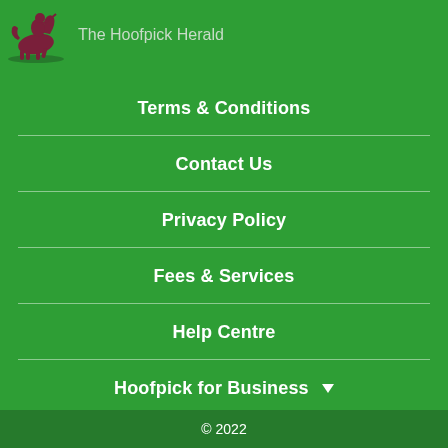The Hoofpick Herald
Terms & Conditions
Contact Us
Privacy Policy
Fees & Services
Help Centre
Hoofpick for Business
© 2022